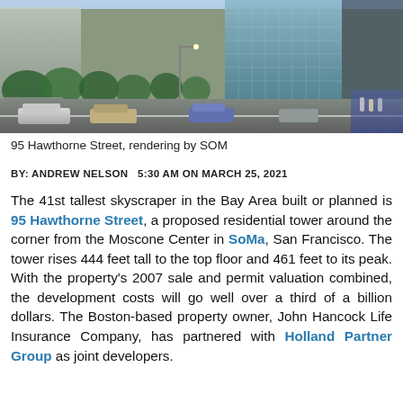[Figure (photo): Street-level rendering of 95 Hawthorne Street in San Francisco's SoMa neighborhood, showing modern glass skyscraper buildings, tree-lined sidewalk, cars on the road, and pedestrians.]
95 Hawthorne Street, rendering by SOM
BY: ANDREW NELSON   5:30 AM ON MARCH 25, 2021
The 41st tallest skyscraper in the Bay Area built or planned is 95 Hawthorne Street, a proposed residential tower around the corner from the Moscone Center in SoMa, San Francisco. The tower rises 444 feet tall to the top floor and 461 feet to its peak. With the property's 2007 sale and permit valuation combined, the development costs will go well over a third of a billion dollars. The Boston-based property owner, John Hancock Life Insurance Company, has partnered with Holland Partner Group as joint developers.